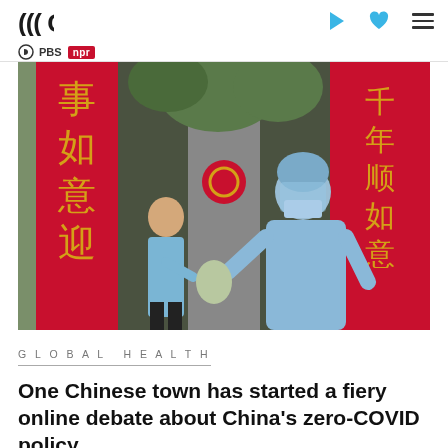GPB | PBS | NPR
[Figure (photo): A COVID-19 health worker in blue protective gear, face shield and mask hands supplies to a resident standing at a gate flanked by red Chinese New Year couplet banners with gold characters.]
GLOBAL HEALTH
One Chinese town has started a fiery online debate about China's zero-COVID policy